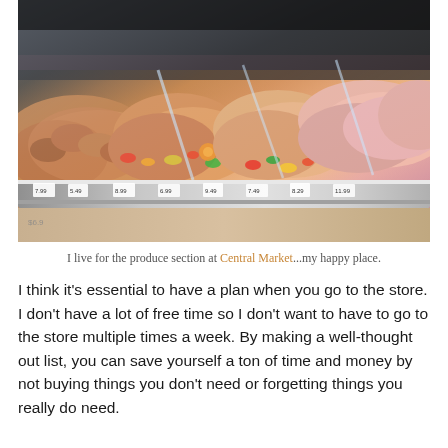[Figure (photo): A supermarket seafood/meat display case photographed from a slight angle, showing a long refrigerated counter filled with various marinated and fresh products in orange, pink, and red hues, with price tags visible along the front glass.]
I live for the produce section at Central Market...my happy place.
I think it's essential to have a plan when you go to the store. I don't have a lot of free time so I don't want to have to go to the store multiple times a week. By making a well-thought out list, you can save yourself a ton of time and money by not buying things you don't need or forgetting things you really do need.